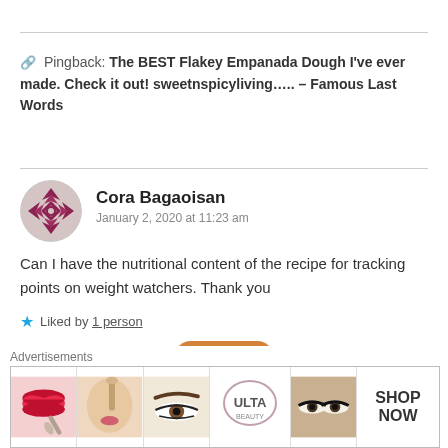Pingback: The BEST Flakey Empanada Dough I've ever made. Check it out! sweetnspicyliving..... – Famous Last Words
Cora Bagaoisan
January 2, 2020 at 11:23 am
Can I have the nutritional content of the recipe for tracking points on weight watchers. Thank you
Liked by 1 person
Reply
[Figure (infographic): Beauty/cosmetics advertisement banner showing makeup images and ULTA beauty logo with SHOP NOW text]